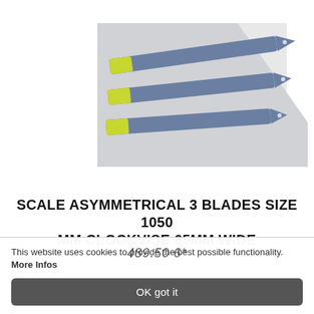[Figure (photo): Three blue asymmetrical helicopter rotor blades with yellow tips arranged diagonally on a light gray geometric background surface. The blades are long and narrow, tapering to a point at the tip, with small holes near the pointed end.]
SCALE ASYMMETRICAL 3 BLADES SIZE 1050 MM CLOCKVISE 65MM WIDE
489.50 6*
This website uses cookies to provide the best possible functionality. More Infos
OK got it